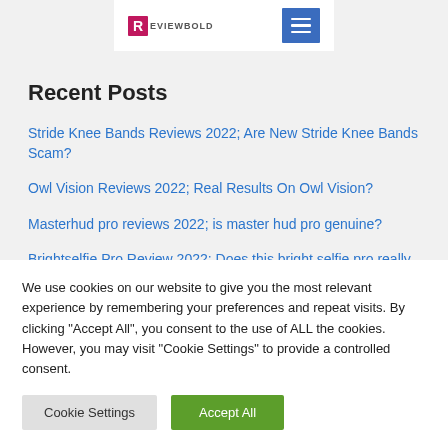[Figure (logo): Reviewbold logo with pink R square and text, plus blue hamburger menu button]
Recent Posts
Stride Knee Bands Reviews 2022; Are New Stride Knee Bands Scam?
Owl Vision Reviews 2022; Real Results On Owl Vision?
Masterhud pro reviews 2022; is master hud pro genuine?
Brightselfie Pro Review 2022; Does this bright selfie pro really
We use cookies on our website to give you the most relevant experience by remembering your preferences and repeat visits. By clicking "Accept All", you consent to the use of ALL the cookies. However, you may visit "Cookie Settings" to provide a controlled consent.